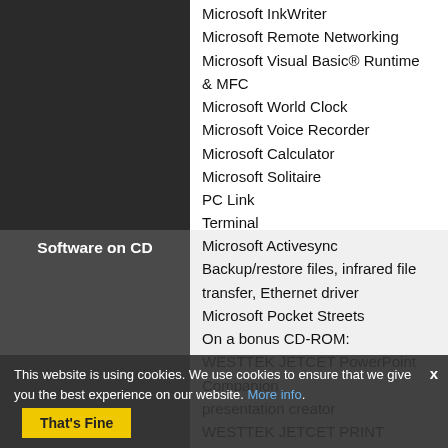Microsoft InkWriter
Microsoft Remote Networking
Microsoft Visual Basic® Runtime & MFC
Microsoft World Clock
Microsoft Voice Recorder
Microsoft Calculator
Microsoft Solitaire
PC Link
Terminal
NEC MobilePro Online Help
Software on CD
Microsoft Activesync
Backup/restore files, infrared file transfer, Ethernet driver
Microsoft Pocket Streets
On a bonus CD-ROM: WESTTEK JETCET PowerPoint Companion presentation creator
WESTTEK JETCET PRINT extra printer drivers
[internet connection]
BSQUARE [fax]
This website is using cookies. We use cookies to ensure that we give you the best experience on our website. More info. That's Fine